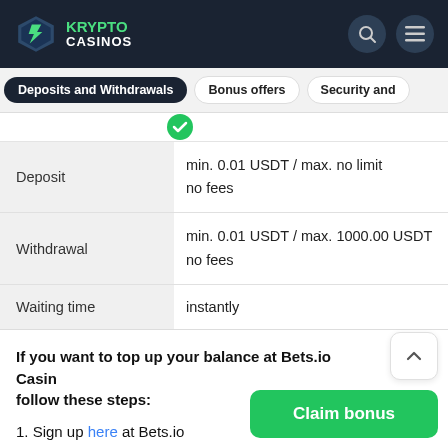KRYPTO CASINOS
|  |  |
| --- | --- |
| Deposit | min. 0.01 USDT / max. no limit
no fees |
| Withdrawal | min. 0.01 USDT / max. 1000.00 USDT
no fees |
| Waiting time | instantly |
If you want to top up your balance at Bets.io Casino, follow these steps:
1. Sign up here at Bets.io